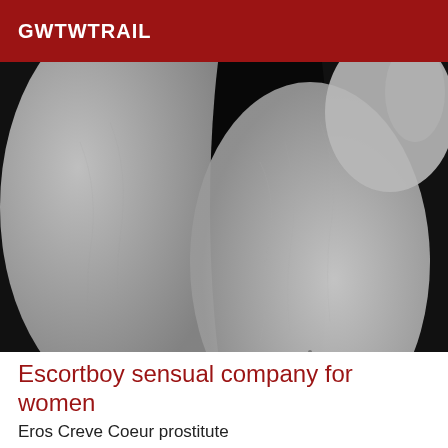GWTWTRAIL
[Figure (photo): Close-up black and white photograph of human legs/skin in an intimate pose]
Escortboy sensual company for women
Eros Creve Coeur prostitute
48 years old man, single, from Creve Coeur (Finistère, Brittany), attentive, listening, educated, spiritual, soft and tender, offers you her company for...